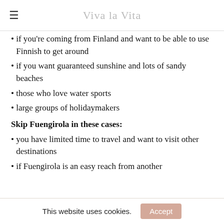Viva la Vita
if you're coming from Finland and want to be able to use Finnish to get around
if you want guaranteed sunshine and lots of sandy beaches
those who love water sports
large groups of holidaymakers
Skip Fuengirola in these cases:
you have limited time to travel and want to visit other destinations
if Fuengirola is an easy reach from another
This website uses cookies.